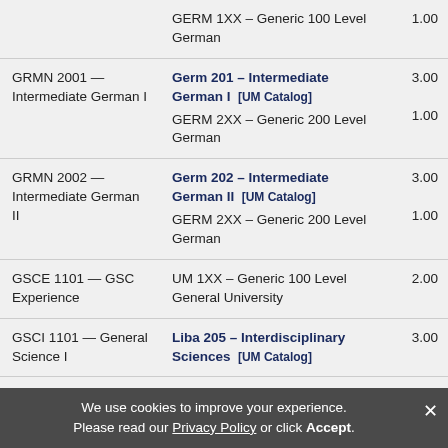| Source Course | Transfer Equivalent | Credits |
| --- | --- | --- |
|  | GERM 1XX – Generic 100 Level German | 1.00 |
| GRMN 2001 — Intermediate German I | Germ 201 – Intermediate German I [UM Catalog]
GERM 2XX – Generic 200 Level German | 3.00
1.00 |
| GRMN 2002 — Intermediate German II | Germ 202 – Intermediate German II [UM Catalog]
GERM 2XX – Generic 200 Level German | 3.00
1.00 |
| GSCE 1101 — GSC Experience | UM 1XX – Generic 100 Level General University | 2.00 |
| GSCI 1101 — General Science I | Liba 205 – Interdisciplinary Sciences [UM Catalog] | 3.00 |
| GSCI 1101 — General Science | Liba 205L – Interdisciplinary | 4.00 |
We use cookies to improve your experience. Please read our Privacy Policy or click Accept.